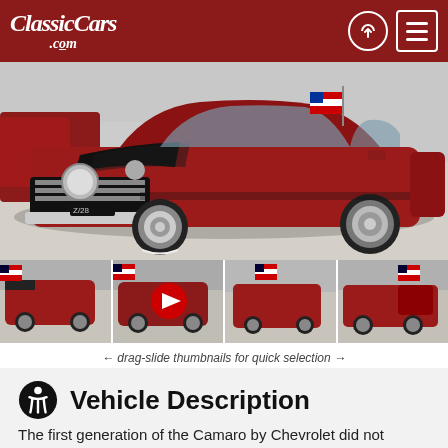ClassicCars.com
[Figure (photo): Red 1969 Chevrolet Camaro Z28 muscle car parked in a showroom garage with black racing stripes on the hood]
[Figure (photo): Four thumbnail images of the classic red Camaro from different angles; second thumbnail has a YouTube play button overlay]
← drag-slide thumbnails for quick selection →
Vehicle Description
The first generation of the Camaro by Chevrolet did not disappoint as they are some of the most valuable